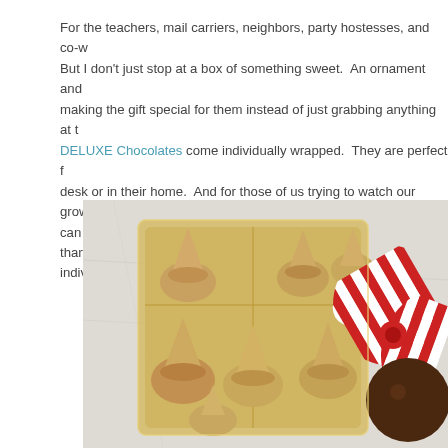For the teachers, mail carriers, neighbors, party hostesses, and co-w… But I don't just stop at a box of something sweet.  An ornament and … making the gift special for them instead of just grabbing anything at t… DELUXE Chocolates come individually wrapped.  They are perfect f… desk or in their home.  And for those of us trying to watch our growin… can hide these in the cupboard where they will stay more fresh than… individually wrapped.
[Figure (photo): Box of gold foil-wrapped chocolate pieces in a clear plastic tray, with a red and white striped ribbon bow in the corner, on a light marble surface.]